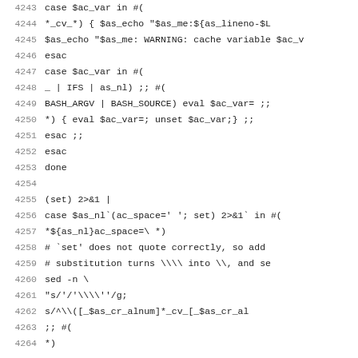Code listing lines 4243-4264, shell script source code
4243   case $ac_var in #(
4244     *_cv_*) { $as_echo "$as_me:${as_lineno-$L
4245   $as_echo "$as_me: WARNING: cache variable $ac_v
4246     esac
4247     case $ac_var in #(
4248       _ | IFS | as_nl) ;; #(
4249       BASH_ARGV | BASH_SOURCE) eval $ac_var= ;;
4250       *) { eval $ac_var=; unset $ac_var;} ;;
4251       esac ;;
4252     esac
4253   done
4254
4255   (set) 2>&1 |
4256   case $as_nl`(ac_space=' '; set) 2>&1` in #(
4257   *${as_nl}ac_space=\ *)
4258     # `set' does not quote correctly, so add
4259     # substitution turns \\\\ into \\, and se
4260     sed -n \
4261       "s/'/'\\\\''/g;
4262       s/^\\([_$as_cr_alnum]*_cv_[_$as_cr_al
4263   ;; #(
4264   *)